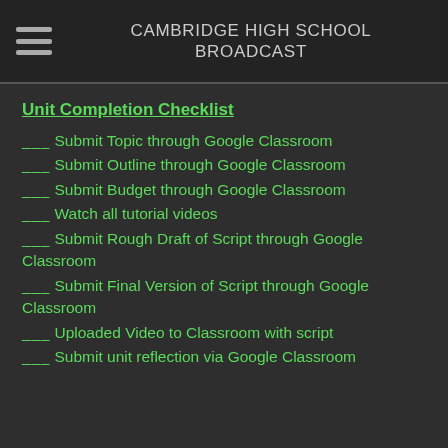CAMBRIDGE HIGH SCHOOL BROADCAST
Unit Completion Checklist
___ Submit Topic through Google Classroom
___ Submit Outline through Google Classroom
___ Submit Budget through Google Classroom
___ Watch all tutorial videos
___ Submit Rough Draft of Script through Google Classroom
___ Submit Final Version of Script through Google Classroom
___ Uploaded Video to Classroom with script
___ Submit unit reflection via Google Classroom